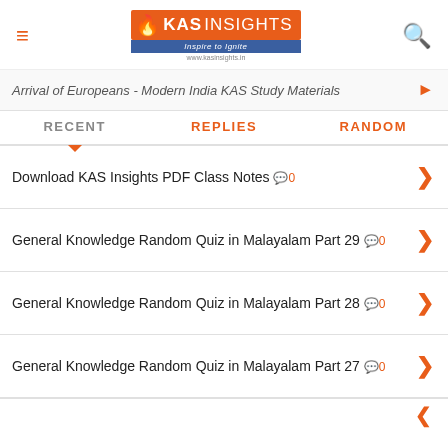KAS INSIGHTS - Inspire to Ignite - www.kasinsights.in
Arrival of Europeans - Modern India KAS Study Materials
RECENT | REPLIES | RANDOM
Download KAS Insights PDF Class Notes  0
General Knowledge Random Quiz in Malayalam Part 29  0
General Knowledge Random Quiz in Malayalam Part 28  0
General Knowledge Random Quiz in Malayalam Part 27  0